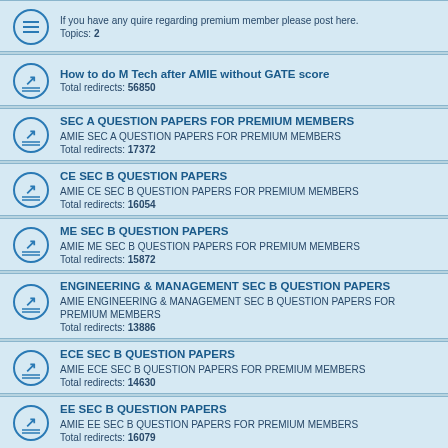If you have any quire regarding premium member please post here. Topics: 2
How to do M Tech after AMIE without GATE score. Total redirects: 56850
SEC A QUESTION PAPERS FOR PREMIUM MEMBERS. AMIE SEC A QUESTION PAPERS FOR PREMIUM MEMBERS. Total redirects: 17372
CE SEC B QUESTION PAPERS. AMIE CE SEC B QUESTION PAPERS FOR PREMIUM MEMBERS. Total redirects: 16054
ME SEC B QUESTION PAPERS. AMIE ME SEC B QUESTION PAPERS FOR PREMIUM MEMBERS. Total redirects: 15872
ENGINEERING & MANAGEMENT SEC B QUESTION PAPERS. AMIE ENGINEERING & MANAGEMENT SEC B QUESTION PAPERS FOR PREMIUM MEMBERS. Total redirects: 13886
ECE SEC B QUESTION PAPERS. AMIE ECE SEC B QUESTION PAPERS FOR PREMIUM MEMBERS. Total redirects: 14630
EE SEC B QUESTION PAPERS. AMIE EE SEC B QUESTION PAPERS FOR PREMIUM MEMBERS. Total redirects: 16079
CSE SEC B QUESTION PAPERS. AMIE CSE SEC B QUESTION PAPERS FOR PREMIUM MEMBERS. Total redirects: 14549